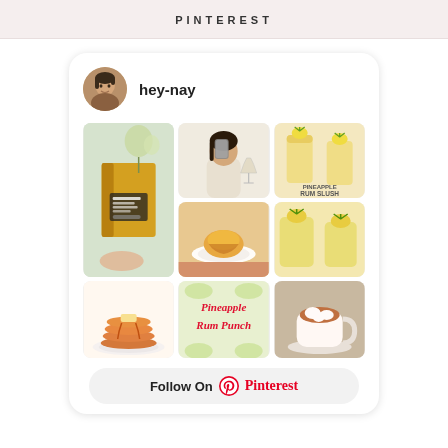PINTEREST
[Figure (screenshot): Pinterest profile card for user 'hey-nay' showing avatar photo, username, a 3x3 grid of pin images including food photos, illustrations, and recipe cards (pineapple rum slush, pancakes, pineapple rum punch, hot chocolate), and a 'Follow On Pinterest' button at the bottom.]